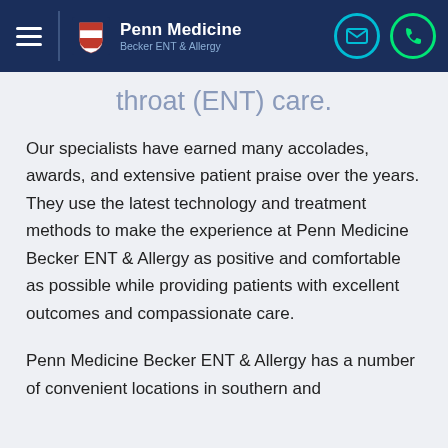Penn Medicine Becker ENT & Allergy
throat (ENT) care.
Our specialists have earned many accolades, awards, and extensive patient praise over the years. They use the latest technology and treatment methods to make the experience at Penn Medicine Becker ENT & Allergy as positive and comfortable as possible while providing patients with excellent outcomes and compassionate care.
Penn Medicine Becker ENT & Allergy has a number of convenient locations in southern and